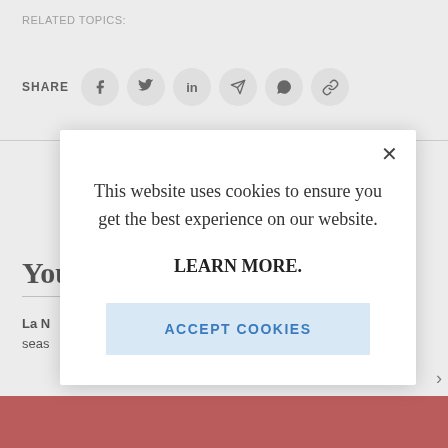RELATED TOPICS:
SHARE
[Figure (screenshot): Social share buttons: Facebook, Twitter, LinkedIn, Telegram, WhatsApp, link copy]
You
La N
seas
[Figure (screenshot): Cookie consent modal dialog: 'This website uses cookies to ensure you get the best experience on our website. LEARN MORE.' with 'ACCEPT COOKIES' button and X close button]